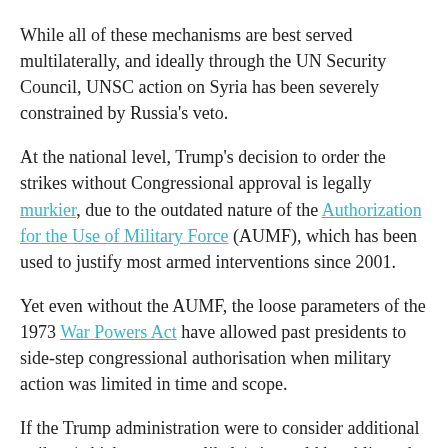While all of these mechanisms are best served multilaterally, and ideally through the UN Security Council, UNSC action on Syria has been severely constrained by Russia's veto.
At the national level, Trump's decision to order the strikes without Congressional approval is legally murkier, due to the outdated nature of the Authorization for the Use of Military Force (AUMF), which has been used to justify most armed interventions since 2001.
Yet even without the AUMF, the loose parameters of the 1973 War Powers Act have allowed past presidents to side-step congressional authorisation when military action was limited in time and scope.
If the Trump administration were to consider additional strikes (which appears unlikely), it would be obligated under the War Powers Act to seek congressional approval within 60 to 90 days, but Friday's strike itself was within the legal